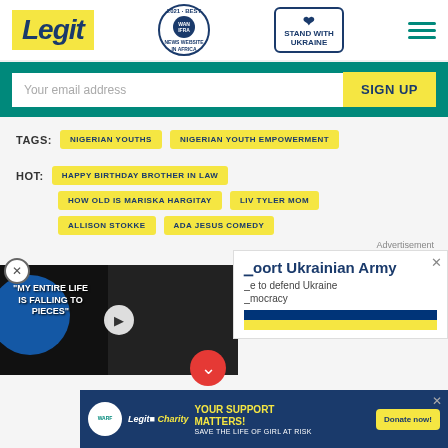[Figure (logo): Legit.ng website header with Legit logo in yellow, WAN-IFRA 2021 Best News Website in Africa award badge, Stand With Ukraine button, and hamburger menu]
Your email address
SIGN UP
TAGS: NIGERIAN YOUTHS  NIGERIAN YOUTH EMPOWERMENT
HOT: HAPPY BIRTHDAY BROTHER IN LAW
HOW OLD IS MARISKA HARGITAY  LIV TYLER MOM
ALLISON STOKKE  ADA JESUS COMEDY
[Figure (screenshot): Video overlay with text MY ENTIRE LIFE IS FALLING TO PIECES and play button]
[Figure (infographic): Support Ukrainian Army advertisement with partial text: to defend Ukraine democracy]
[Figure (infographic): Bottom charity ad: YOUR SUPPORT MATTERS! SAVE THE LIFE OF GIRL AT RISK with Donate now button]